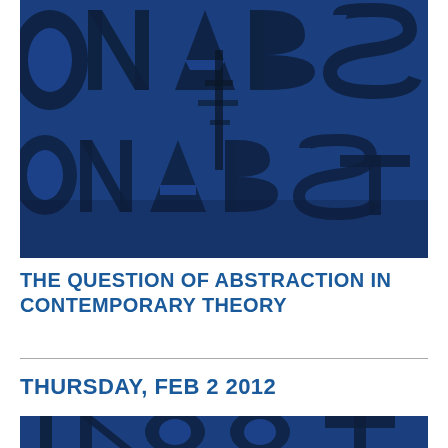[Figure (photo): Close-up photo of large abstract letterforms overlaid on a dark blue background, showing partial letters including N, A, B, S, T in black silhouette against blue.]
THE QUESTION OF ABSTRACTION IN CONTEMPORARY THEORY
THURSDAY, FEB 2 2012
[Figure (photo): Partial photo cropped at bottom, same abstract letterforms on dark blue background.]